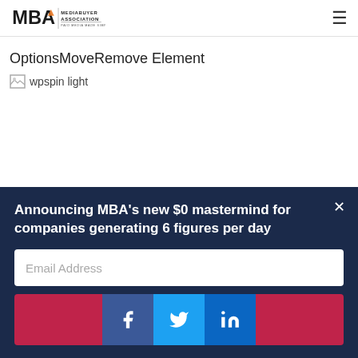MBA MediaBuyer Association - Paid Media Made Simple
OptionsMoveRemove Element
[Figure (photo): Broken image placeholder labeled '-wpspin light']
Announcing MBA's new $0 mastermind for companies generating 6 figures per day
Email Address
[Figure (infographic): Social share buttons: Facebook, Twitter, LinkedIn on red background]